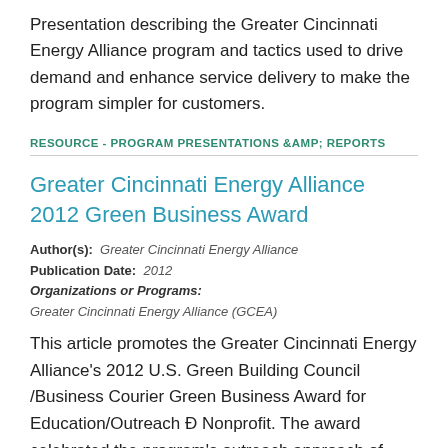Presentation describing the Greater Cincinnati Energy Alliance program and tactics used to drive demand and enhance service delivery to make the program simpler for customers.
RESOURCE - PROGRAM PRESENTATIONS &AMP; REPORTS
Greater Cincinnati Energy Alliance 2012 Green Business Award
Author(s): Greater Cincinnati Energy Alliance
Publication Date: 2012
Organizations or Programs:
Greater Cincinnati Energy Alliance (GCEA)
This article promotes the Greater Cincinnati Energy Alliance's 2012 U.S. Green Building Council /Business Courier Green Business Award for Education/Outreach Ð Nonprofit. The award celebrated the program's outreach approach of reaching out to homeowners directly